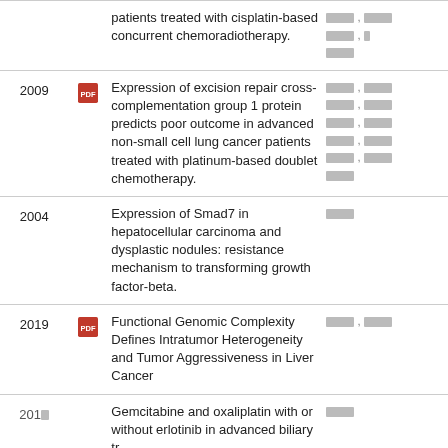| Year | Icon | Title | Authors |
| --- | --- | --- | --- |
|  |  | patients treated with cisplatin-based concurrent chemoradiotherapy. | ███ , ███ ███ , █ ███ |
| 2009 | PDF | Expression of excision repair cross-complementation group 1 protein predicts poor outcome in advanced non-small cell lung cancer patients treated with platinum-based doublet chemotherapy. | ███ , ███ ███ , ███ ███ , ███ ███ , ███ ███ |
| 2004 |  | Expression of Smad7 in hepatocellular carcinoma and dysplastic nodules: resistance mechanism to transforming growth factor-beta. | ███ |
| 2019 | PDF | Functional Genomic Complexity Defines Intratumor Heterogeneity and Tumor Aggressiveness in Liver Cancer | ███ , ███ |
| 2019? |  | Gemcitabine and oxaliplatin with or without erlotinib in advanced biliary... | ███ |